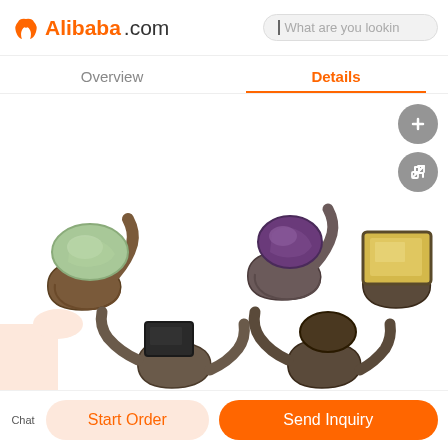Alibaba.com | What are you lookin
Overview | Details
[Figure (photo): Five gemstone rings with dark metal bands featuring various raw gemstones: green jade, purple amethyst, yellow citrine, black onyx, and a partial peach/orange stone. Rings are displayed on a white background.]
Chat | Start Order | Send Inquiry